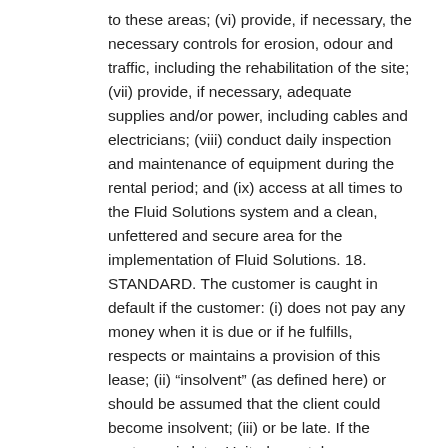to these areas; (vi) provide, if necessary, the necessary controls for erosion, odour and traffic, including the rehabilitation of the site; (vii) provide, if necessary, adequate supplies and/or power, including cables and electricians; (viii) conduct daily inspection and maintenance of equipment during the rental period; and (ix) access at all times to the Fluid Solutions system and a clean, unfettered and secure area for the implementation of Fluid Solutions. 18. STANDARD. The customer is caught in default if the customer: (i) does not pay any money when it is due or if he fulfills, respects or maintains a provision of this lease; (ii) “insolvent” (as defined here) or should be assumed that the client could become insolvent; (iii) or be late. If the customer is late, United may take one or more of the following steps: (i) end the rental period; (ii) immediately declare the amounts owed and due for this purpose and take legal action; (iii) United staff or representative, accompanied by a notification; in the